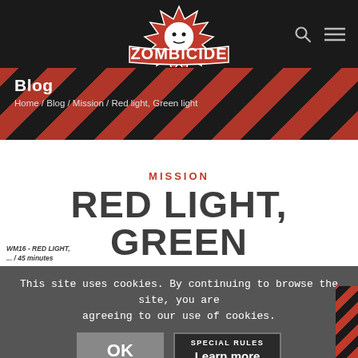Zombicide
Blog
Home / Blog / Mission / Red light, Green light
MISSION
RED LIGHT, GREEN LIGHT
Guillotine Games
This site uses cookies. By continuing to browse the site, you are agreeing to our use of cookies.
OK
SPECIAL RULES
Learn more